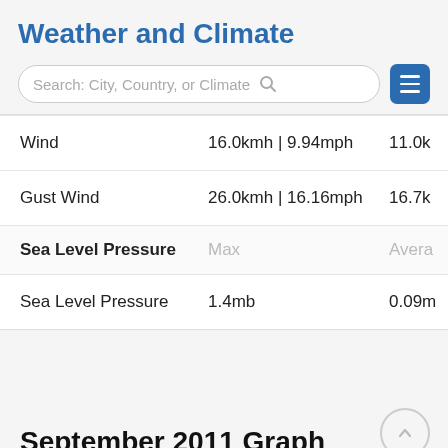Weather and Climate
Search: City, Country, or Climate
|  | Max | Average |
| --- | --- | --- |
| Wind | 16.0kmh | 9.94mph | 11.0k |
| Gust Wind | 26.0kmh | 16.16mph | 16.7k |
| Sea Level Pressure | Max | Average |
| Sea Level Pressure | 1.4mb | 0.09m |
September 2011 Graph